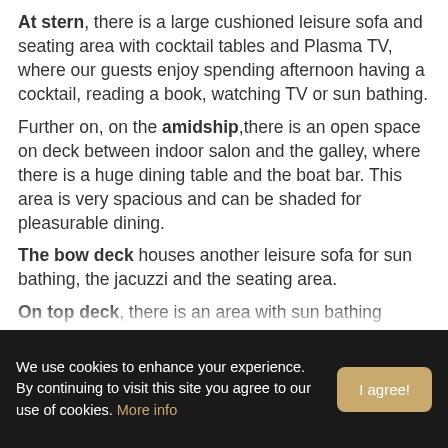At stern, there is a large cushioned leisure sofa and seating area with cocktail tables and Plasma TV, where our guests enjoy spending afternoon having a cocktail, reading a book, watching TV or sun bathing. Further on, on the amidship, there is an open space on deck between indoor salon and the galley, where there is a huge dining table and the boat bar. This area is very spacious and can be shaded for pleasurable dining. The bow deck houses another leisure sofa for sun bathing, the jacuzzi and the seating area. On top deck, there is an area with sun bathing mattresses, which provides excellent views on…
We use cookies to enhance your experience. By continuing to visit this site you agree to our use of cookies. More info | I agree!